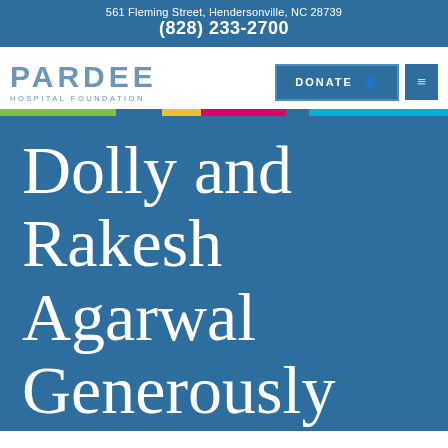561 Fleming Street, Hendersonville, NC 28739
(828) 233-2700
[Figure (logo): Pardee Hospital Foundation logo with blue text]
[Figure (other): DONATE button with person icon and hamburger menu button]
Dolly and Rakesh Agarwal Generously